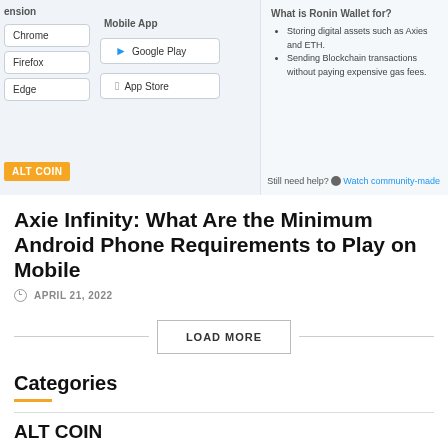[Figure (screenshot): Ronin Wallet installation options panel showing browser extension buttons (Chrome, Firefox, Edge) and Mobile App buttons (Google Play, App Store), with a right panel titled 'What is Ronin Wallet for?' listing bullet points about storing digital assets and sending blockchain transactions. A 'Still need help? Watch community-made' link appears at bottom right. An ALT COIN badge appears at bottom left.]
Axie Infinity: What Are the Minimum Android Phone Requirements to Play on Mobile
APRIL 21, 2022
LOAD MORE
Categories
ALT COIN